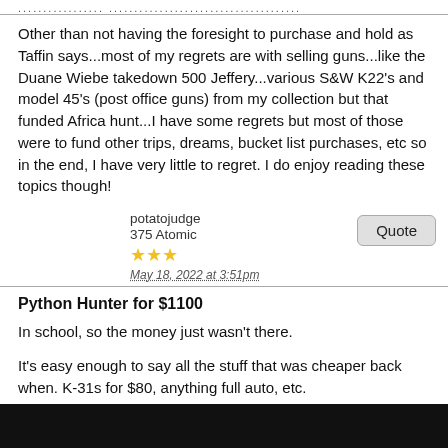................. ......................................
Other than not having the foresight to purchase and hold as Taffin says...most of my regrets are with selling guns...like the Duane Wiebe takedown 500 Jeffery...various S&W K22's and model 45's (post office guns) from my collection but that funded Africa hunt...I have some regrets but most of those were to fund other trips, dreams, bucket list purchases, etc so in the end, I have very little to regret. I do enjoy reading these topics though!
potatojudge
375 Atomic
★★★
May 18, 2022 at 3:51pm
[Quote]
Python Hunter for $1100
In school, so the money just wasn't there.
It's easy enough to say all the stuff that was cheaper back when. K-31s for $80, anything full auto, etc.
I have way more guns I wish I hadn't bought than ones I wish I had.
jeffh
327 Meteor
[Quote]